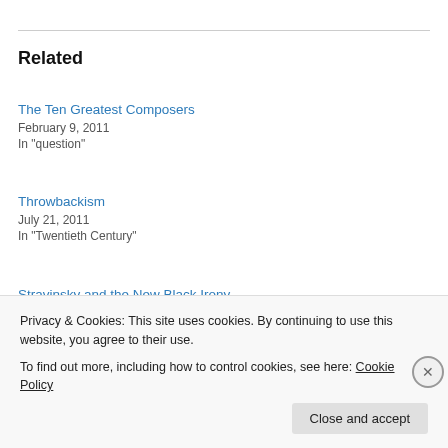Related
The Ten Greatest Composers
February 9, 2011
In "question"
Throwbackism
July 21, 2011
In "Twentieth Century"
Stravinsky and the New Black Irony
July 16, 2011
Privacy & Cookies: This site uses cookies. By continuing to use this website, you agree to their use.
To find out more, including how to control cookies, see here: Cookie Policy
Close and accept